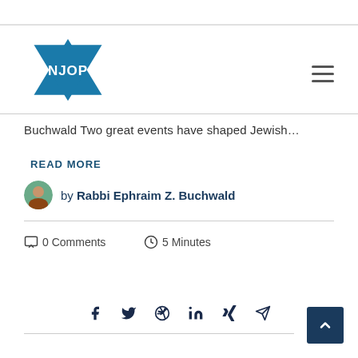[Figure (logo): NJOP logo — Star of David shape in teal/blue with white text 'NJOP' in the center]
Buchwald Two great events have shaped Jewish...
Read More
by Rabbi Ephraim Z. Buchwald
0 Comments   5 Minutes
[Figure (infographic): Social share icons row: Facebook, Twitter, Pinterest, LinkedIn, Xing, Email/Send]
[Figure (other): Back to top button — dark navy square with white up-arrow chevron]